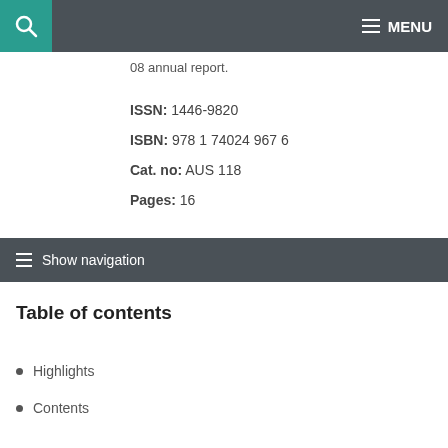MENU
08 annual report.
ISSN: 1446-9820
ISBN: 978 1 74024 967 6
Cat. no: AUS 118
Pages: 16
Show navigation
Table of contents
Highlights
Contents